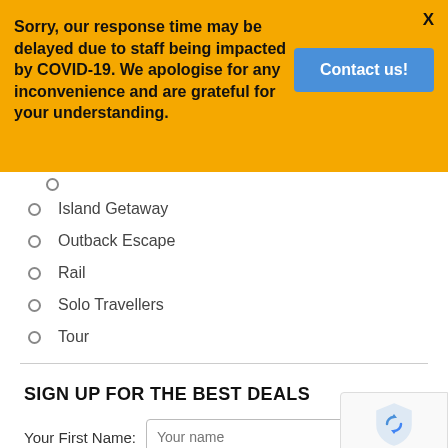Sorry, our response time may be delayed due to staff being impacted by COVID-19. We apologise for any inconvenience and are grateful for your understanding.
Contact us!
X
Island Getaway
Outback Escape
Rail
Solo Travellers
Tour
SIGN UP FOR THE BEST DEALS
Your First Name:
Your name
[Figure (logo): reCAPTCHA logo with shield icon, text 'Privacy - Terms']